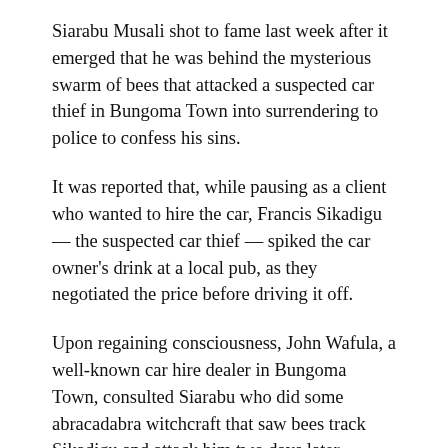Siarabu Musali shot to fame last week after it emerged that he was behind the mysterious swarm of bees that attacked a suspected car thief in Bungoma Town into surrendering to police to confess his sins.
It was reported that, while pausing as a client who wanted to hire the car, Francis Sikadigu — the suspected car thief — spiked the car owner's drink at a local pub, as they negotiated the price before driving it off.
Upon regaining consciousness, John Wafula, a well-known car hire dealer in Bungoma Town, consulted Siarabu who did some abracadabra witchcraft that saw bees track Sikadigu and attack him two days later.
So fierce was the attack that Sikadigu was forced to drive the car to a nearby police post and surrender to the authorities.